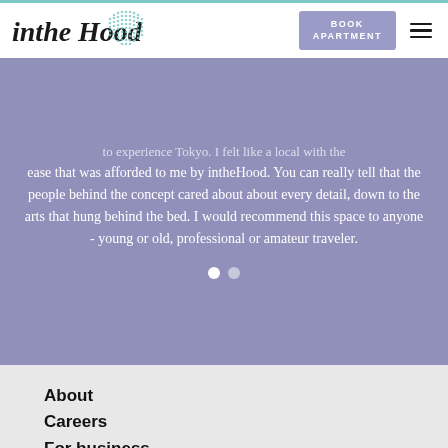intheHood — BOOK APARTMENT
to experience Tokyo. I felt like a local with the ease that was afforded to me by intheHood. You can really tell that the people behind the concept cared about about every detail, down to the arts that hung behind the bed. I would recommend this space to anyone - young or old, professional or amateur traveler.
About
Careers
For business
The Hoods